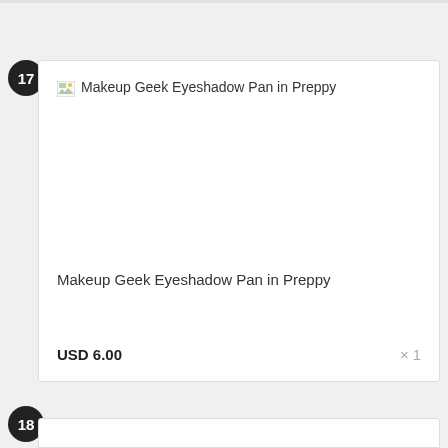17
[Figure (photo): Broken image placeholder for Makeup Geek Eyeshadow Pan in Preppy]
Makeup Geek Eyeshadow Pan in Preppy
USD 6.00
× 1
18